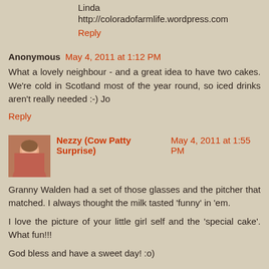Linda
http://coloradofarmlife.wordpress.com
Reply
Anonymous  May 4, 2011 at 1:12 PM
What a lovely neighbour - and a great idea to have two cakes. We're cold in Scotland most of the year round, so iced drinks aren't really needed :-) Jo
Reply
[Figure (photo): Avatar photo of Nezzy (Cow Patty Surprise)]
Nezzy (Cow Patty Surprise)  May 4, 2011 at 1:55 PM
Granny Walden had a set of those glasses and the pitcher that matched. I always thought the milk tasted 'funny' in 'em.
I love the picture of your little girl self and the 'special cake'. What fun!!!
God bless and have a sweet day! :o)